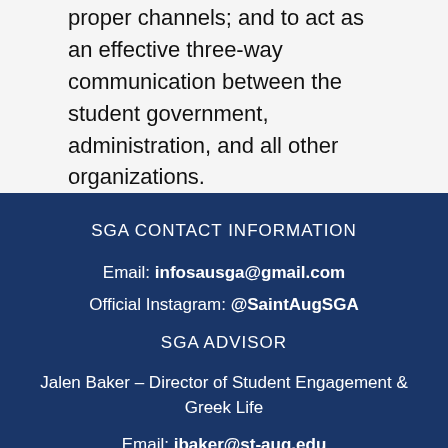proper channels; and to act as an effective three-way communication between the student government, administration, and all other organizations.
SGA CONTACT INFORMATION
Email: infosausga@gmail.com
Official Instagram: @SaintAugSGA
SGA ADVISOR
Jalen Baker – Director of Student Engagement & Greek Life
Email: jbaker@st-aug.edu